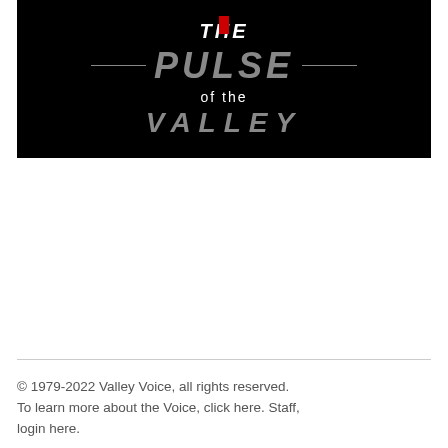[Figure (logo): The Pulse of the Valley logo on black background with red accent, gray decorative lines flanking 'PULSE' text]
© 1979-2022 Valley Voice, all rights reserved. To learn more about the Voice, click here. Staff, login here.